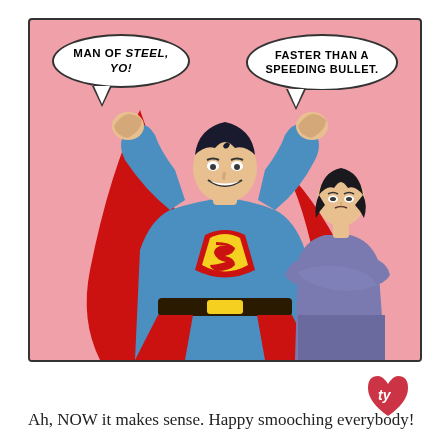[Figure (illustration): Comic strip panel with pink background showing Superman flexing both arms raised, wearing blue costume with red S shield and yellow belt, red cape. A woman in purple/grey suit stands to the right with arms crossed. Two speech bubbles: left bubble says 'MAN OF STEEL, YO!' and right bubble says 'FASTER THAN A SPEEDING BULLET.' A small red heart logo with 'ty' text is in the bottom right below the panel.]
Ah, NOW it makes sense.  Happy smooching everybody!